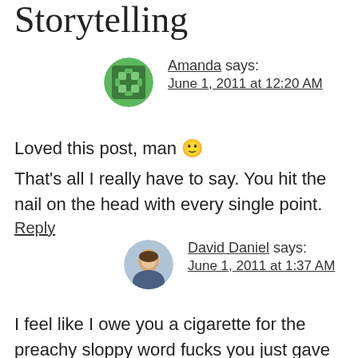Storytelling
Amanda says:
June 1, 2011 at 12:20 AM
Loved this post, man 🙂
That's all I really have to say. You hit the nail on the head with every single point.
Reply
David Daniel says:
June 1, 2011 at 1:37 AM
I feel like I owe you a cigarette for the preachy sloppy word fucks you just gave me. Thanks for the brain-gasm.